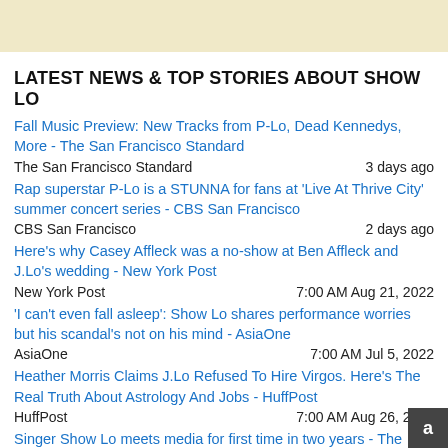[Figure (other): Light yellow/beige banner advertisement area at top of page]
LATEST NEWS & TOP STORIES ABOUT SHOW LO
Fall Music Preview: New Tracks from P-Lo, Dead Kennedys, More - The San Francisco Standard | The San Francisco Standard | 3 days ago
Rap superstar P-Lo is a STUNNA for fans at 'Live At Thrive City' summer concert series - CBS San Francisco | CBS San Francisco | 2 days ago
Here's why Casey Affleck was a no-show at Ben Affleck and J.Lo's wedding - New York Post | New York Post | 7:00 AM Aug 21, 2022
'I can't even fall asleep': Show Lo shares performance worries but his scandal's not on his mind - AsiaOne | AsiaOne | 7:00 AM Jul 5, 2022
Heather Morris Claims J.Lo Refused To Hire Virgos. Here's The Real Truth About Astrology And Jobs - HuffPost | HuffPost | 7:00 AM Aug 26, 2022
Singer Show Lo meets media for first time in two years - The Straits Times | The Straits Times | 7:00 AM Aug 8, 2022